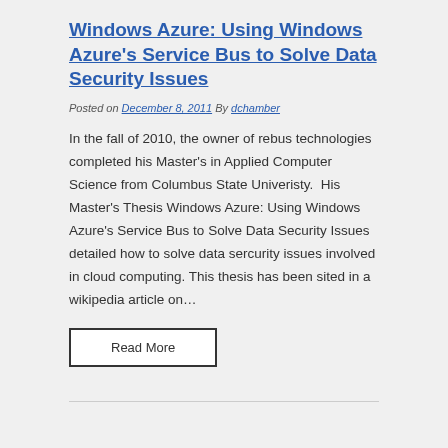Windows Azure: Using Windows Azure's Service Bus to Solve Data Security Issues
Posted on December 8, 2011 By dchamber
In the fall of 2010, the owner of rebus technologies completed his Master's in Applied Computer Science from Columbus State Univeristy.  His Master's Thesis Windows Azure: Using Windows Azure's Service Bus to Solve Data Security Issues detailed how to solve data sercurity issues involved in cloud computing. This thesis has been sited in a wikipedia article on...
Read More